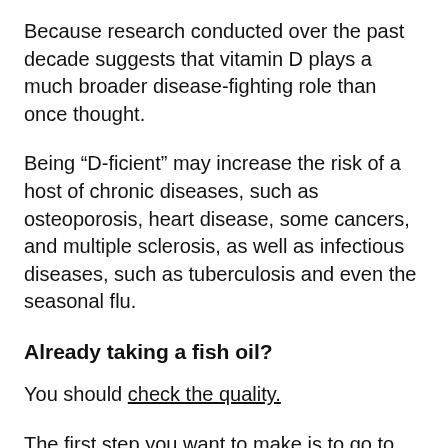Because research conducted over the past decade suggests that vitamin D plays a much broader disease-fighting role than once thought.
Being “D-ficient” may increase the risk of a host of chronic diseases, such as osteoporosis, heart disease, some cancers, and multiple sclerosis, as well as infectious diseases, such as tuberculosis and even the seasonal flu.
Already taking a fish oil?
You should check the quality.
The first step you want to make is to go to your medicine cabinet and get the fish oil you have now.